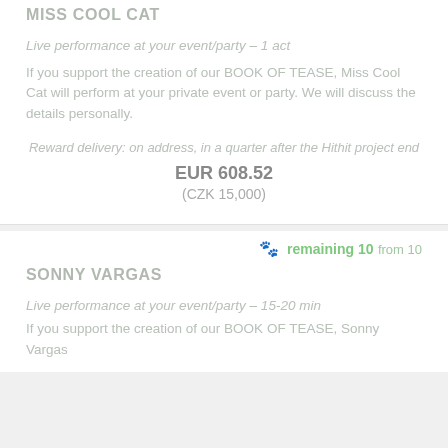MISS COOL CAT
Live performance at your event/party – 1 act
If you support the creation of our BOOK OF TEASE, Miss Cool Cat will perform at your private event or party. We will discuss the details personally.
Reward delivery: on address, in a quarter after the Hithit project end
EUR 608.52
(CZK 15,000)
remaining 10 from 10
SONNY VARGAS
Live performance at your event/party – 15-20 min
If you support the creation of our BOOK OF TEASE, Sonny Vargas